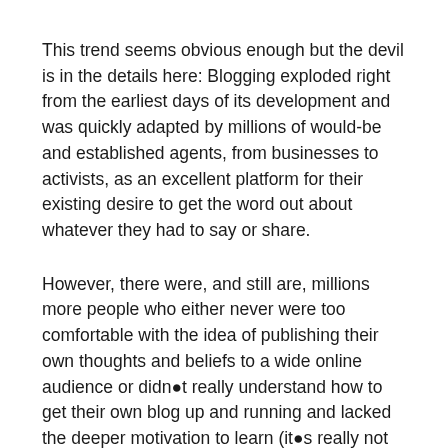This trend seems obvious enough but the devil is in the details here: Blogging exploded right from the earliest days of its development and was quickly adapted by millions of would-be and established agents, from businesses to activists, as an excellent platform for their existing desire to get the word out about whatever they had to say or share.
However, there were, and still are, millions more people who either never were too comfortable with the idea of publishing their own thoughts and beliefs to a wide online audience or didn●t really understand how to get their own blog up and running and lacked the deeper motivation to learn (it●s really not too complicated).
This is now starting to change in a serious way thanks to social media platforms. Since in essence these networks, such as Facebook and Twitter, really act sort of like